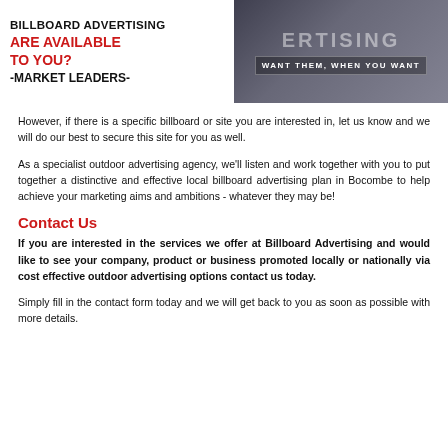[Figure (illustration): Billboard advertising banner image. Left half shows white background with bold text: 'BILLBOARD ADVERTISING', 'ARE AVAILABLE TO YOU?' in red, '-MARKET LEADERS-' in black. Right half shows a dark photo of a billboard with text 'WANT THEM, WHEN YOU WANT' overlaid.]
However, if there is a specific billboard or site you are interested in, let us know and we will do our best to secure this site for you as well.
As a specialist outdoor advertising agency, we'll listen and work together with you to put together a distinctive and effective local billboard advertising plan in Bocombe to help achieve your marketing aims and ambitions - whatever they may be!
Contact Us
If you are interested in the services we offer at Billboard Advertising and would like to see your company, product or business promoted locally or nationally via cost effective outdoor advertising options contact us today.
Simply fill in the contact form today and we will get back to you as soon as possible with more details.